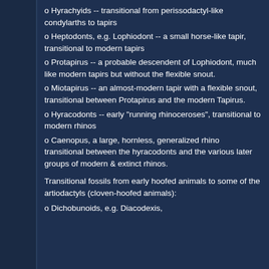o Hyrachyids -- transitional from perissodactyl-like condylarths to tapirs
o Heptodonts, e.g. Lophiodont -- a small horse-like tapir, transitional to modern tapirs
o Protapirus -- a probable descendent of Lophiodont, much like modern tapirs but without the flexible snout.
o Miotapirus -- an almost-modern tapir with a flexible snout, transitional between Protapirus and the modern Tapirus.
o Hyracodonts -- early "running rhinoceroses", transitional to modern rhinos
o Caenopus, a large, hornless, generalized rhino transitional between the hyracodonts and the various later groups of modern & extinct rhinos.
Transitional fossils from early hoofed animals to some of the artiodactyls (cloven-hoofed animals):
o Dichobunoids, e.g. Diacodexis,